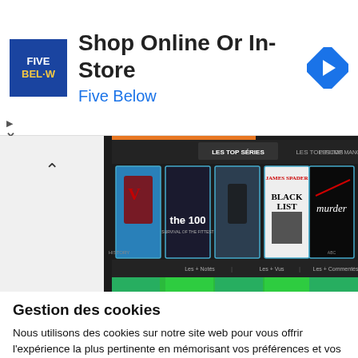[Figure (screenshot): Advertisement banner for Five Below with logo, text 'Shop Online Or In-Store' and 'Five Below', and a navigation arrow icon]
[Figure (screenshot): Screenshot of a French streaming website showing top TV series thumbnails: Vikings, The 100, an unknown series, Blacklist, Murder. Navigation tabs show 'LES TOP SÉRIES', 'LES TOP FILMS', 'LES TOP MANGAS'. Bottom row has 'Les + Notés', 'Les + Vus', 'Les + Commentés'.]
Gestion des cookies
Nous utilisons des cookies sur notre site web pour vous offrir l'expérience la plus pertinente en mémorisant vos préférences et vos visites répétées. En cliquant sur "Accepter", vous consentez à l'utilisation de ces cookies.
Cookie settings | ACCEPTER